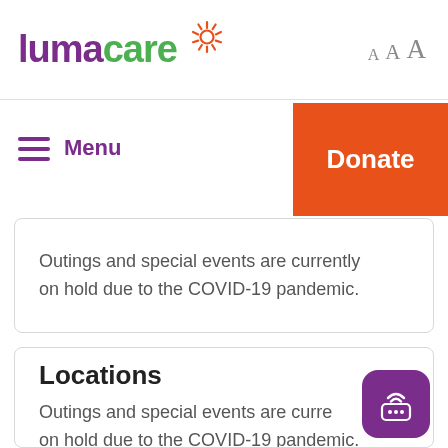[Figure (logo): Lumacare logo with purple 'luma' text, green 'care' text, and orange sun icon]
A A A
Menu
Donate
Outings and special events are currently on hold due to the COVID-19 pandemic.
Locations
Outings and special events are currently on hold due to the COVID-19 pandemic.
[Figure (illustration): Purple chat/broadcast widget icon in bottom right corner]